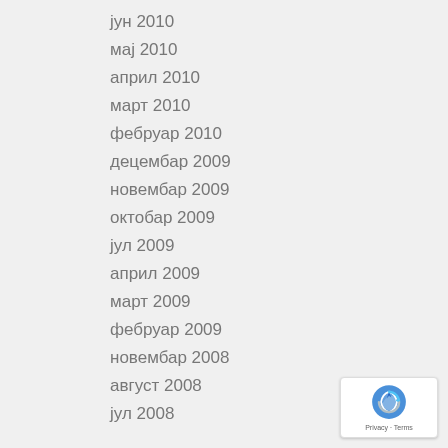јун 2010
мај 2010
април 2010
март 2010
фебруар 2010
децембар 2009
новембар 2009
октобар 2009
јул 2009
април 2009
март 2009
фебруар 2009
новембар 2008
август 2008
јул 2008